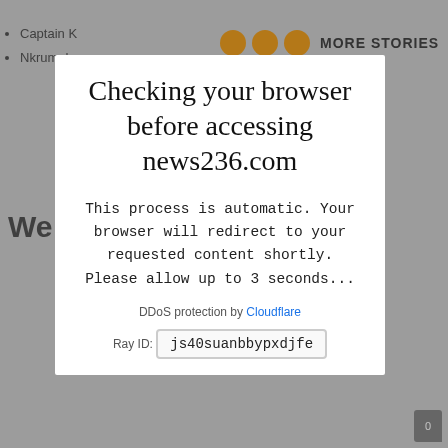[Figure (screenshot): Browser DDoS verification modal overlay on a news website. Background shows a partially visible webpage with bullet list items including 'Captain K...', 'Nkrumah...', 'Kemar Roach', 'Jayden Seales', 'We...' bold heading, orange circles, and MORE STORIES header. Foreground is a centered white modal dialog.]
Checking your browser before accessing news236.com
This process is automatic. Your browser will redirect to your requested content shortly. Please allow up to 3 seconds...
DDoS protection by Cloudflare
Ray ID: js40suanbbypxdjfe